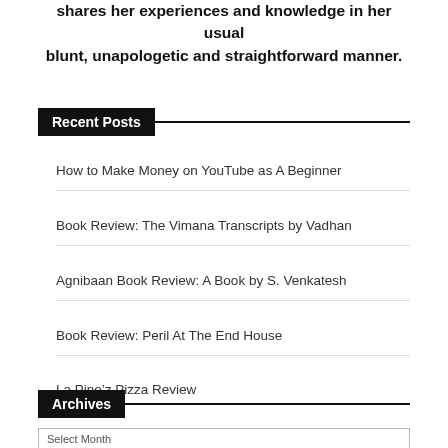shares her experiences and knowledge in her usual blunt, unapologetic and straightforward manner.
Recent Posts
How to Make Money on YouTube as A Beginner
Book Review: The Vimana Transcripts by Vadhan
Agnibaan Book Review: A Book by S. Venkatesh
Book Review: Peril At The End House
La Pino’z Pizza Review
Archives
Select Month